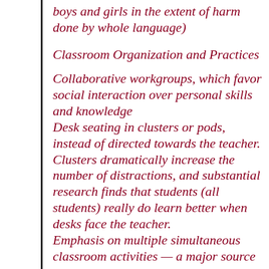boys and girls in the extent of harm done by whole language)
Classroom Organization and Practices
Collaborative workgroups, which favor social interaction over personal skills and knowledge
Desk seating in clusters or pods, instead of directed towards the teacher. Clusters dramatically increase the number of distractions, and substantial research finds that students (all students) really do learn better when desks face the teacher.
Emphasis on multiple simultaneous classroom activities — a major source